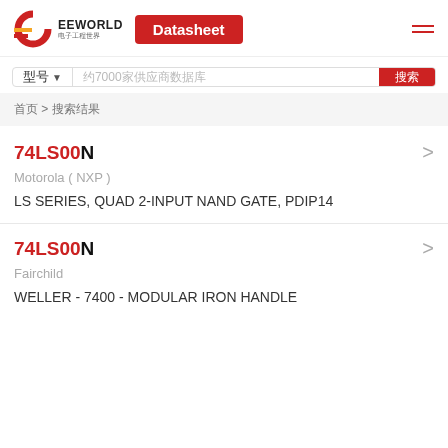EEWORLD 电子工程世界 | Datasheet
型号 ▼ 约7000家供应商数据库 搜索
首页 > 搜索结果
74LS00N
Motorola ( NXP )
LS SERIES, QUAD 2-INPUT NAND GATE, PDIP14
74LS00N
Fairchild
WELLER - 7400 - MODULAR IRON HANDLE